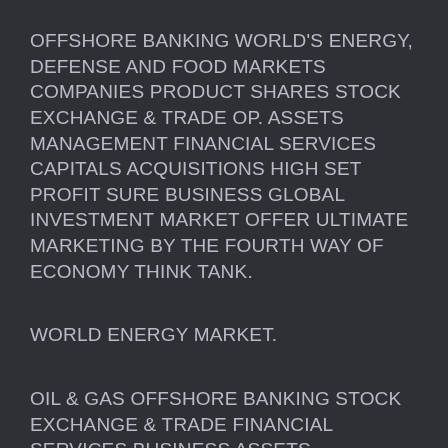OFFSHORE BANKING WORLD'S ENERGY, DEFENSE AND FOOD MARKETS COMPANIES PRODUCT SHARES STOCK EXCHANGE & TRADE OP. ASSETS MANAGEMENT FINANCIAL SERVICES CAPITALS ACQUISITIONS HIGH SET PROFIT SURE BUSINESS GLOBAL INVESTMENT MARKET OFFER ULTIMATE MARKETING BY THE FOURTH WAY OF ECONOMY THINK TANK.
WORLD ENERGY MARKET.
OIL & GAS OFFSHORE BANKING STOCK EXCHANGE & TRADE FINANCIAL SERVICES BUSINESS ASSETS MANAGEMENT MARKETING.